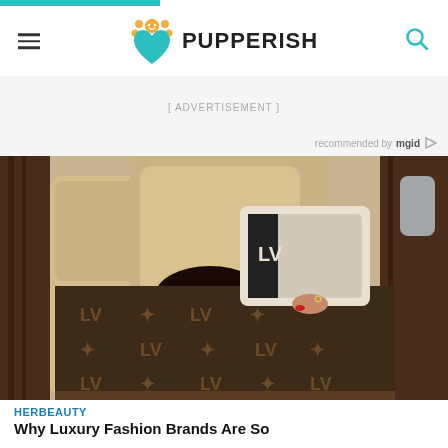PUPPERISH
[ ADVERTISEMENT ]
recommended by mgid
[Figure (photo): A person sleeping in a luxury private jet seat, covered with a Louis Vuitton monogram blanket and a Louis Vuitton pillow, with cream leather seats and dark wood paneling visible]
HERBEAUTY
Why Luxury Fashion Brands Are So